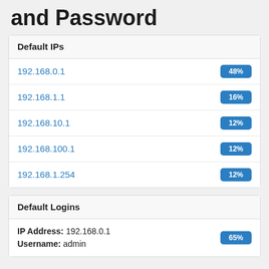and Password
| Default IPs |  |
| --- | --- |
| 192.168.0.1 | 48% |
| 192.168.1.1 | 16% |
| 192.168.10.1 | 12% |
| 192.168.100.1 | 12% |
| 192.168.1.254 | 12% |
| Default Logins |  |
| --- | --- |
| IP Address: 192.168.0.1
Username: admin | 65% |